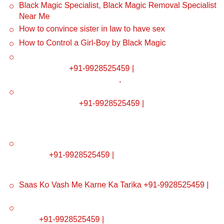Black Magic Specialist, Black Magic Removal Specialist Near Me
How to convince sister in law to have sex
How to Control a Girl-Boy by Black Magic
+91-9928525459 | ,
+91-9928525459 |
+91-9928525459 |
Saas Ko Vash Me Karne Ka Tarika +91-9928525459 |
+91-9928525459 |